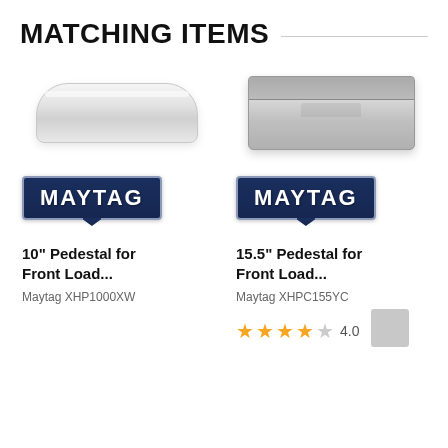MATCHING ITEMS
[Figure (photo): White rounded pedestal for front load washer/dryer]
[Figure (photo): Gray/silver rectangular pedestal for front load washer/dryer]
[Figure (logo): Maytag brand badge logo, dark blue with white text]
[Figure (logo): Maytag brand badge logo, dark blue with white text]
10" Pedestal for Front Load...
15.5" Pedestal for Front Load...
Maytag XHP1000XW
Maytag XHPC155YC
4.0